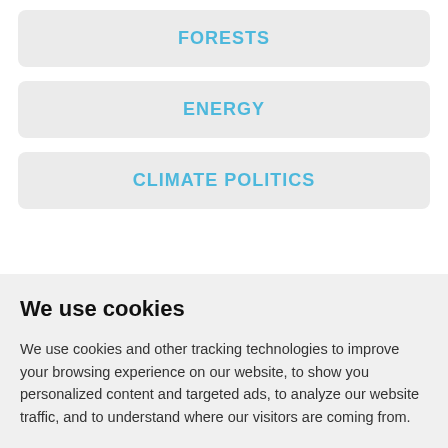FORESTS
ENERGY
CLIMATE POLITICS
We use cookies
We use cookies and other tracking technologies to improve your browsing experience on our website, to show you personalized content and targeted ads, to analyze our website traffic, and to understand where our visitors are coming from.